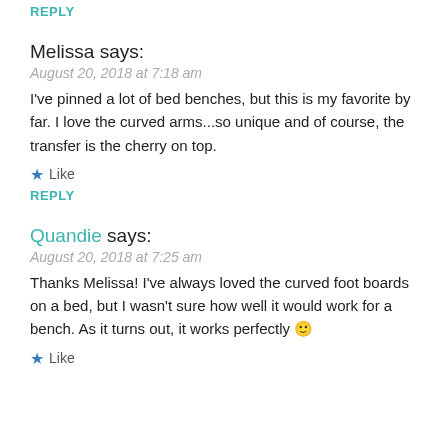REPLY
Melissa says:
August 20, 2018 at 7:18 am
I've pinned a lot of bed benches, but this is my favorite by far. I love the curved arms...so unique and of course, the transfer is the cherry on top.
★ Like
REPLY
Quandie says:
August 20, 2018 at 7:25 am
Thanks Melissa! I've always loved the curved foot boards on a bed, but I wasn't sure how well it would work for a bench. As it turns out, it works perfectly 🙂
★ Like